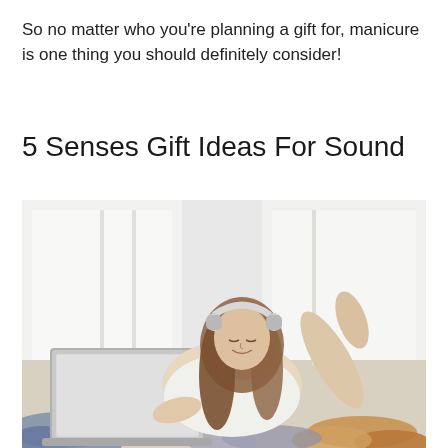So no matter who you're planning a gift for, manicure is one thing you should definitely consider!
5 Senses Gift Ideas For Sound
[Figure (photo): A young woman with long brown hair wearing white over-ear headphones, lying on the floor on her stomach, smiling with eyes closed, using a laptop computer. She is wearing a white shirt. Around her are scattered colorful clothing items (blue jeans, orange fabric). The background shows a bright, light-filled room with windows.]